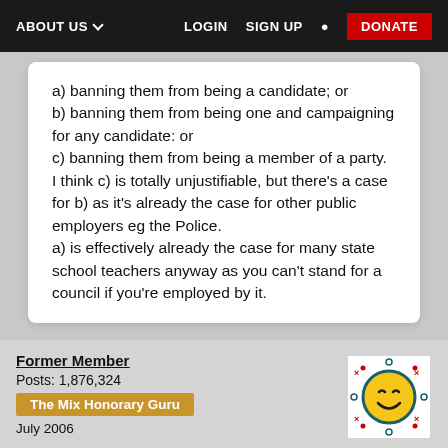ABOUT US  LOGIN  SIGN UP  DONATE
a) banning them from being a candidate; or
b) banning them from being one and campaigning for any candidate: or
c) banning them from being a member of a party.
I think c) is totally unjustifiable, but there's a case for b) as it's already the case for other public employers eg the Police.
a) is effectively already the case for many state school teachers anyway as you can't stand for a council if you're employed by it.
Former Member
Posts: 1,876,324
The Mix Honorary Guru
July 2006